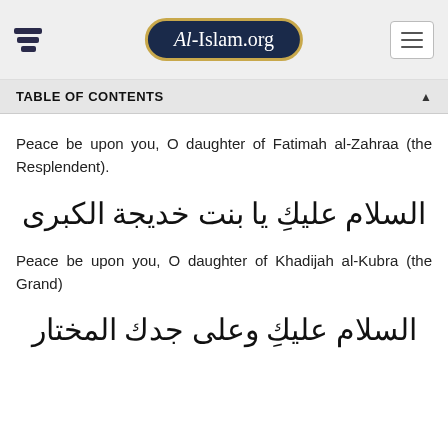Al-Islam.org
TABLE OF CONTENTS
Peace be upon you, O daughter of Fatimah al-Zahraa (the Resplendent).
السلام عليكِ يا بنت خديجة الكبرى
Peace be upon you, O daughter of Khadijah al-Kubra (the Grand)
السلام عليكِ وعلى جدك المختار